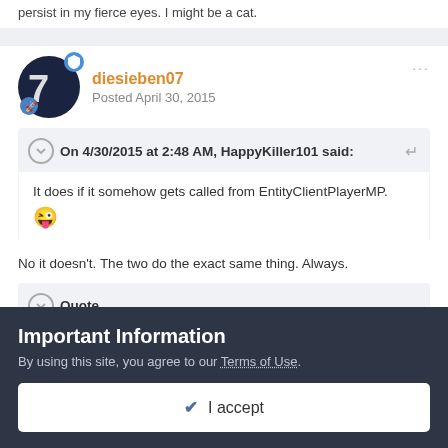persist in my fierce eyes. I might be a cat.
[Figure (illustration): User avatar for diesieben07 showing a stylized '7' on dark blue circular background with a blue shield badge and a blue rocket badge]
diesieben07
Posted April 30, 2015
On 4/30/2015 at 2:48 AM, HappyKiller101 said:
It does if it somehow gets called from EntityClientPlayerMP. 😜
No it doesn't. The two do the exact same thing. Always.
Quote
Important Information
By using this site, you agree to our Terms of Use.
✔ I accept